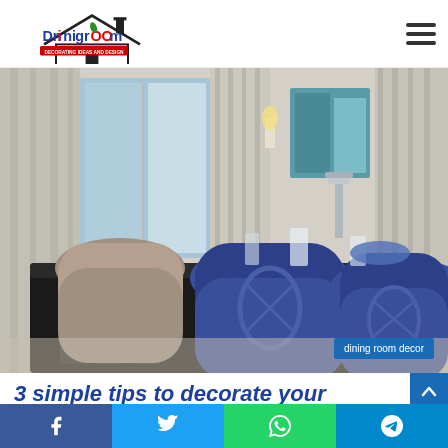Dninigroom — DECORATING IDEAS AND DESIGN
[Figure (photo): Elegant dining room with blue upholstered chairs around a dark reflective table, curtains in background, wall sconce lighting and teal artwork]
dining room decor
3 simple tips to decorate your dining
[Figure (infographic): Social share bar with Facebook, Twitter, WhatsApp, and Telegram buttons]